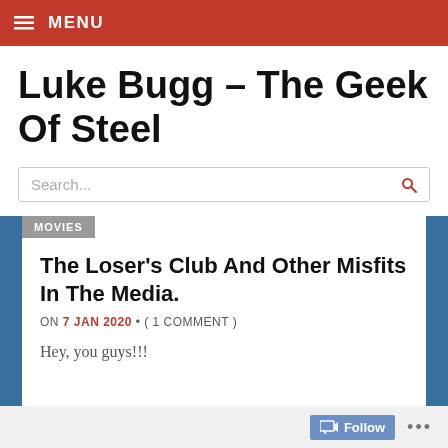≡ MENU
Luke Bugg – The Geek Of Steel
Search...
MOVIES
The Loser's Club And Other Misfits In The Media.
ON 7 JAN 2020 • ( 1 COMMENT )
Hey, you guys!!!
Follow ...